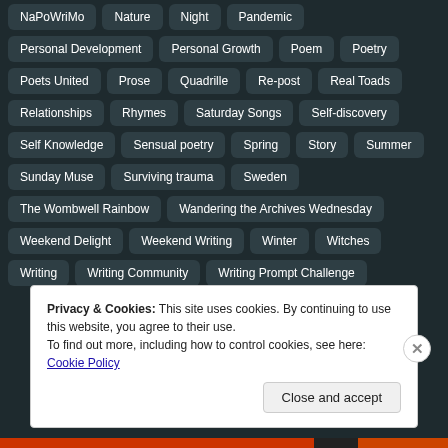NaPoWriMo
Nature
Night
Pandemic
Personal Development
Personal Growth
Poem
Poetry
Poets United
Prose
Quadrille
Re-post
Real Toads
Relationships
Rhymes
Saturday Songs
Self-discovery
Self Knowledge
Sensual poetry
Spring
Story
Summer
Sunday Muse
Surviving trauma
Sweden
The Wombwell Rainbow
Wandering the Archives Wednesday
Weekend Delight
Weekend Writing
Winter
Witches
Writing
Writing Community
Writing Prompt Challenge
Privacy & Cookies: This site uses cookies. By continuing to use this website, you agree to their use.
To find out more, including how to control cookies, see here: Cookie Policy
Close and accept